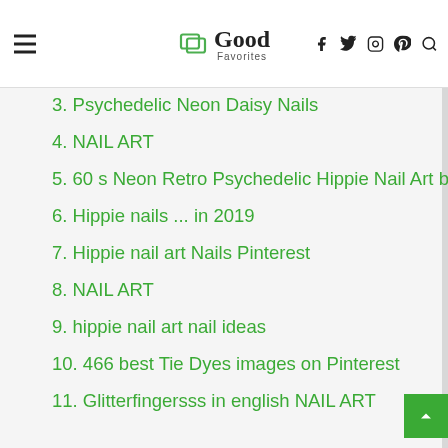Good Favorites
3. Psychedelic Neon Daisy Nails
4. NAIL ART
5. 60 s Neon Retro Psychedelic Hippie Nail Art by
6. Hippie nails ... in 2019
7. Hippie nail art Nails Pinterest
8. NAIL ART
9. hippie nail art nail ideas
10. 466 best Tie Dyes images on Pinterest
11. Glitterfingersss in english NAIL ART
12. Hippy nails by Whitney from Dressed up Nails
13. Winter Hippie Chic Nail Art
14. Flower Power Nails
15. Hippie Nail Art Hippie nails
16. Nail Art | Ethnic Hippie Boho design using OPI Fiji
17. 31DC2013 Day 06 Violet Hippie Mix
18. drippy trippy nails for gracejohnston nailedbyceline